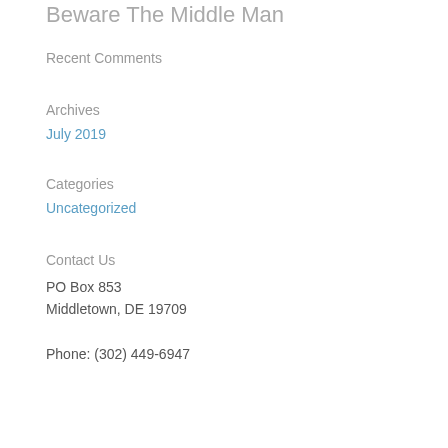Beware The Middle Man
Recent Comments
Archives
July 2019
Categories
Uncategorized
Contact Us
PO Box 853
Middletown, DE 19709

Phone: (302) 449-6947